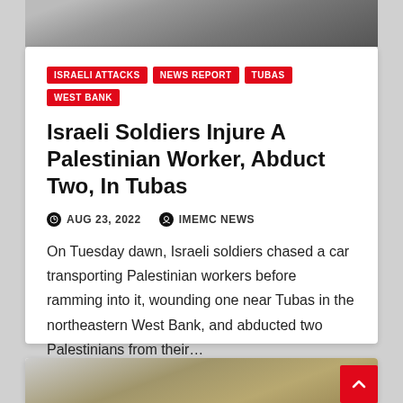[Figure (photo): Partial photo at top of article card, appears to show rocks or debris]
ISRAELI ATTACKS
NEWS REPORT
TUBAS
WEST BANK
Israeli Soldiers Injure A Palestinian Worker, Abduct Two, In Tubas
AUG 23, 2022   IMEMC NEWS
On Tuesday dawn, Israeli soldiers chased a car transporting Palestinian workers before ramming into it, wounding one near Tubas in the northeastern West Bank, and abducted two Palestinians from their…
[Figure (photo): Partial photo at bottom of page showing stone wall or rocks]